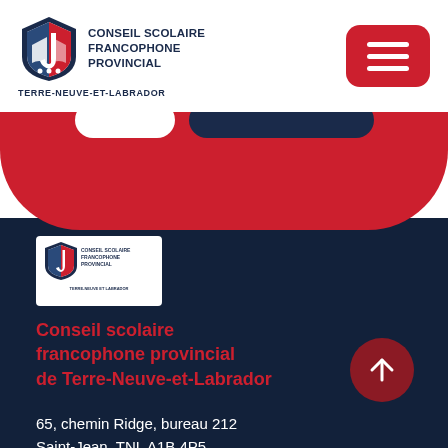[Figure (logo): Conseil scolaire francophone provincial shield logo with open book and maple leaf, with text CONSEIL SCOLAIRE FRANCOPHONE PROVINCIAL and TERRE-NEUVE-ET-LABRADOR]
[Figure (other): Red rounded rectangle hamburger menu button with three white horizontal lines]
[Figure (other): Red rounded section with two pill-shaped buttons (white and dark navy) partially visible at top]
[Figure (logo): Small white-background version of the CSFP logo with TERRE-NEUVE ET LABRADOR text, placed in dark navy footer]
Conseil scolaire francophone provincial de Terre-Neuve-et-Labrador
65, chemin Ridge, bureau 212
Saint-Jean, TNL A1B 4P5